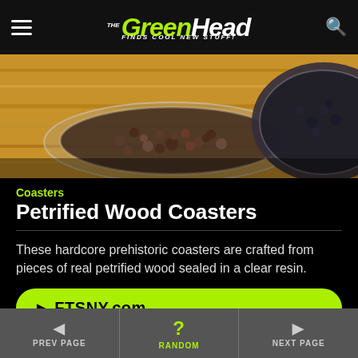The Green Head - Finds Cool New Stuff!
[Figure (photo): Petrified wood coasters shown in circular glass dishes on a wooden tray surface, viewed from above]
Coasters
Petrified Wood Coasters
These hardcore prehistoric coasters are crafted from pieces of real petrified wood sealed in a clear resin.
► FTSNY.com
◄ PREV PAGE | ? RANDOM | ► NEXT PAGE